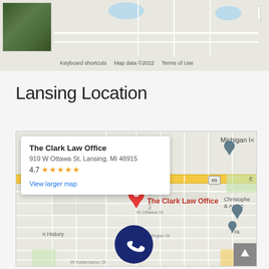[Figure (screenshot): Top portion of a Google Map showing aerial/road view with Google logo, keyboard shortcuts, map data copyright 2022, and terms of use. A minus zoom button is visible in the top right.]
Lansing Location
[Figure (map): Google Maps embed showing The Clark Law Office at 910 W Ottawa St, Lansing, MI 48915, rated 4.7 stars. Map shows street grid of Lansing area with red pin marker labeled 'The Clark Law Office', highway US-69, and nearby landmarks including Michigan location, Christopher & Associates, and others. An info popup with office details and 'View larger map' link is overlaid on the map. A phone icon circle is visible at the bottom.]